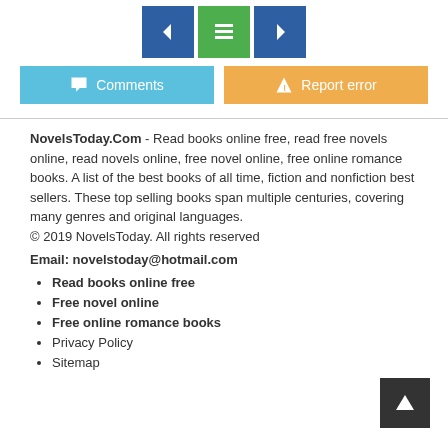[Figure (other): Navigation buttons: back arrow (blue), grid/list icon (green), forward arrow (blue), plus Comments button (light blue) and Report error button (orange)]
NovelsToday.Com - Read books online free, read free novels online, read novels online, free novel online, free online romance books. A list of the best books of all time, fiction and nonfiction best sellers. These top selling books span multiple centuries, covering many genres and original languages.
© 2019 NovelsToday. All rights reserved
Email: novelstoday@hotmail.com
Read books online free
Free novel online
Free online romance books
Privacy Policy
Sitemap